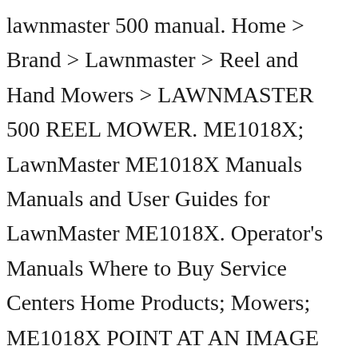lawnmaster 500 manual. Home > Brand > Lawnmaster > Reel and Hand Mowers > LAWNMASTER 500 REEL MOWER. ME1018X; LawnMaster ME1018X Manuals Manuals and User Guides for LawnMaster ME1018X. Operator's Manuals Where to Buy Service Centers Home Products; Mowers; ME1018X POINT AT AN IMAGE TO VIEW. 1 in blade length. Operator's Manuals Where to Buy Service Centers Home Accessories; RMB1018X POINT AT AN IMAGE TO VIEW. $15.74. OEM